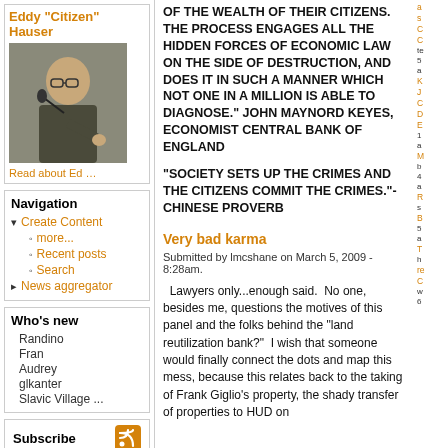Eddy "Citizen" Hauser
[Figure (photo): Photo of Eddy Hauser speaking at a podium with a microphone]
Read about Ed ...
Navigation
▾ Create Content
◦ more...
◦ Recent posts
◦ Search
▸ News aggregator
Who's new
Randino
Fran
Audrey
glkanter
Slavic Village ...
Subscribe
OF THE WEALTH OF THEIR CITIZENS. THE PROCESS ENGAGES ALL THE HIDDEN FORCES OF ECONOMIC LAW ON THE SIDE OF DESTRUCTION, AND DOES IT IN SUCH A MANNER WHICH NOT ONE IN A MILLION IS ABLE TO DIAGNOSE." JOHN MAYNORD KEYES, ECONOMIST CENTRAL BANK OF ENGLAND
"SOCIETY SETS UP THE CRIMES AND THE CITIZENS COMMIT THE CRIMES."-CHINESE PROVERB
Very bad karma
Submitted by lmcshane on March 5, 2009 - 8:28am.
Lawyers only...enough said.  No one, besides me, questions the motives of this panel and the folks behind the "land reutilization bank?"  I wish that someone would finally connect the dots and map this mess, because this relates back to the taking of Frank Giglio's property, the shady transfer of properties to HUD on